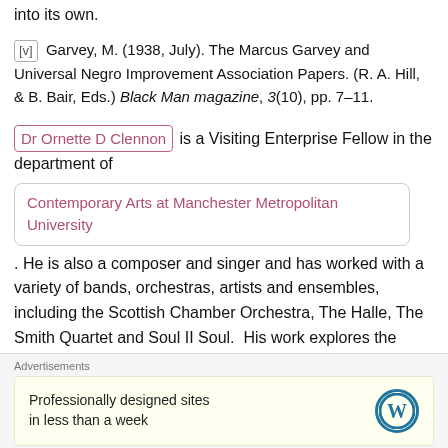into its own.
[v] Garvey, M. (1938, July). The Marcus Garvey and Universal Negro Improvement Association Papers. (R. A. Hill, & B. Bair, Eds.) Black Man magazine, 3(10), pp. 7–11.
Dr Ornette D Clennon is a Visiting Enterprise Fellow in the department of Contemporary Arts at Manchester Metropolitan University. He is also a composer and singer and has worked with a variety of bands, orchestras, artists and ensembles, including the Scottish Chamber Orchestra, The Halle, The Smith Quartet and Soul II Soul. His work explores the intersection between Arts, Culture and Social Agency
Advertisements
Professionally designed sites in less than a week